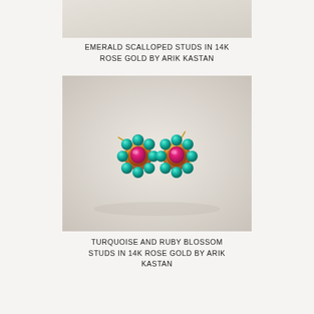[Figure (photo): Top portion of a product photo showing emerald scalloped studs on a light beige background (cropped, only bottom part visible)]
EMERALD SCALLOPED STUDS IN 14K ROSE GOLD BY ARIK KASTAN
[Figure (photo): Product photo of turquoise and ruby blossom stud earrings in 14K rose gold by Arik Kastan — two flower-shaped earrings with turquoise cabochon petals surrounding a central pink/ruby stone, set in gold, on a light beige background]
TURQUOISE AND RUBY BLOSSOM STUDS IN 14K ROSE GOLD BY ARIK KASTAN